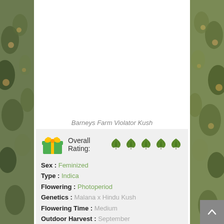[Figure (photo): Close-up photo of cannabis buds forming the background of the page, visible on left and right sides behind a white center panel]
Barneys Farm Violator Kush
[Figure (infographic): Overall Rating section with gift box emoji icon, text 'Overall Rating:' and five cannabis leaf icons representing a 5/5 rating]
Sex : Feminized
Type : Indica
Flowering : Photoperiod
Genetics : Malana x Hindu Kush
Flowering Time : Medium
Outdoor Harvest : September
Height : Medium
THC Level : 22 % CBD: 1.5 %
Characteristics : comforting, couch, hug